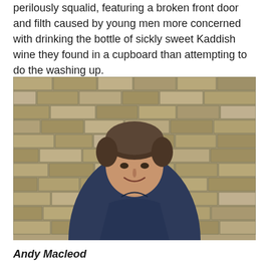perilously squalid, featuring a broken front door and filth caused by young men more concerned with drinking the bottle of sickly sweet Kaddish wine they found in a cupboard than attempting to do the washing up.
[Figure (photo): A middle-aged man with brown hair, smiling, wearing a navy blue puffer jacket with a hood, standing in front of a brick wall.]
Andy Macleod